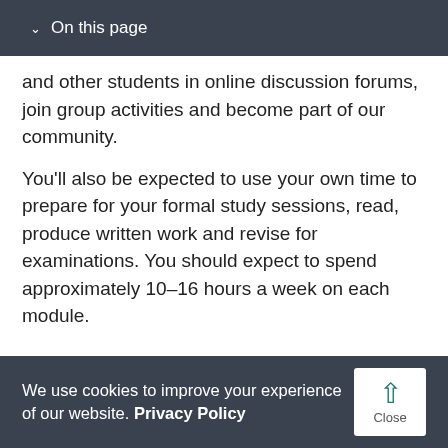On this page
and other students in online discussion forums, join group activities and become part of our community.
You'll also be expected to use your own time to prepare for your formal study sessions, read, produce written work and revise for examinations. You should expect to spend approximately 10–16 hours a week on each module.
Watch our Teaching video
We use cookies to improve your experience of our website. Privacy Policy